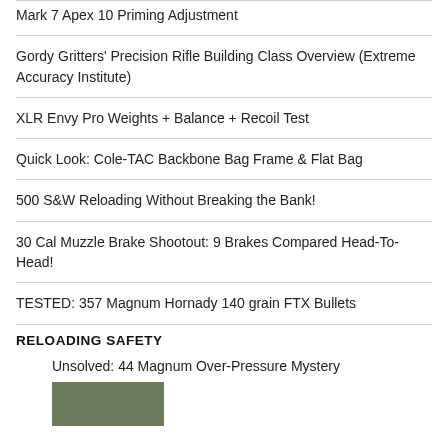Mark 7 Apex 10 Priming Adjustment
Gordy Gritters' Precision Rifle Building Class Overview (Extreme Accuracy Institute)
XLR Envy Pro Weights + Balance + Recoil Test
Quick Look: Cole-TAC Backbone Bag Frame & Flat Bag
500 S&W Reloading Without Breaking the Bank!
30 Cal Muzzle Brake Shootout: 9 Brakes Compared Head-To-Head!
TESTED: 357 Magnum Hornady 140 grain FTX Bullets
RELOADING SAFETY
Unsolved: 44 Magnum Over-Pressure Mystery
[Figure (photo): Partial image of outdoor/nature scene, cropped at bottom of page]